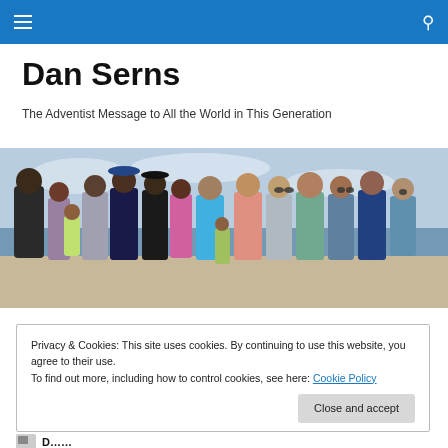Dan Serns
The Adventist Message to All the World in This Generation
[Figure (photo): Family group photo taken at a beach; multiple adults and children posed together with ocean and sky visible in the background.]
Privacy & Cookies: This site uses cookies. By continuing to use this website, you agree to their use.
To find out more, including how to control cookies, see here: Cookie Policy
Close and accept